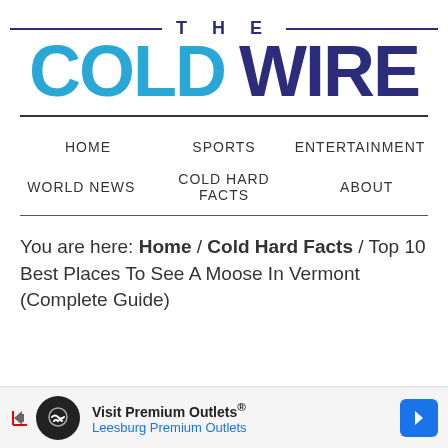[Figure (logo): The Cold Wire logo with 'THE' in dark navy with horizontal lines on each side, and 'COLD WIRE' in large bold text — COLD in cyan/light blue and WIRE in dark navy]
HOME   SPORTS   ENTERTAINMENT   WORLD NEWS   COLD HARD FACTS   ABOUT
You are here: Home / Cold Hard Facts / Top 10 Best Places To See A Moose In Vermont (Complete Guide)
[Figure (other): Advertisement banner: Visit Premium Outlets® Leesburg Premium Outlets]